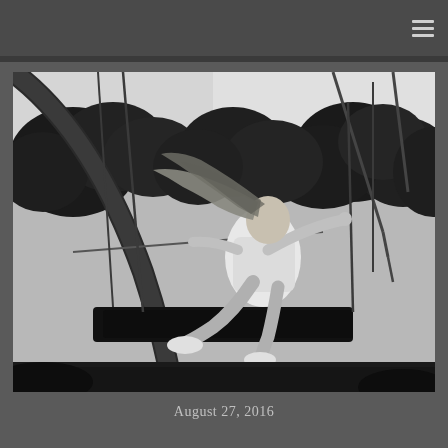[Figure (photo): Black and white photograph of a young woman with long flowing hair riding a playground swing, arms outstretched holding the chains, wearing white shorts and white shoes, surrounded by trees in the background, taken from a low angle.]
August 27, 2016